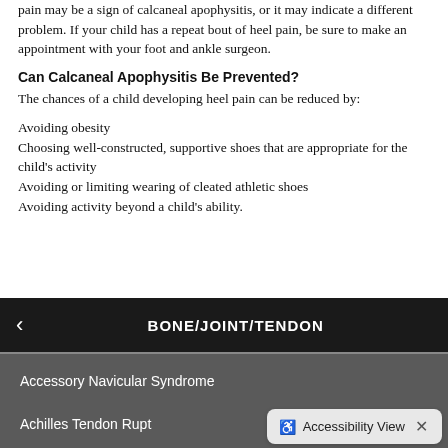pain may be a sign of calcaneal apophysitis, or it may indicate a different problem. If your child has a repeat bout of heel pain, be sure to make an appointment with your foot and ankle surgeon.
Can Calcaneal Apophysitis Be Prevented?
The chances of a child developing heel pain can be reduced by:
Avoiding obesity
Choosing well-constructed, supportive shoes that are appropriate for the child's activity
Avoiding or limiting wearing of cleated athletic shoes
Avoiding activity beyond a child's ability.
BONE/JOINT/TENDON
Accessory Navicular Syndrome
Achilles Tendon Rupt…
Accessibility View ×